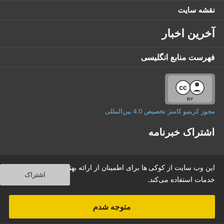نقشه سایت
آخرین اخبار
فهرست منابع انگلیسی
[Figure (logo): Creative Commons CC BY license badge]
مجوز کریتیو کامنز تخصیص 4.0 بین‌المللی
اشتراک خبرنامه
این وب سایت از کوکی ها برای اطمینان از ارائه بهترین خدمات استفاده می‌کند.
متوجه شدم
سیت‌وپ